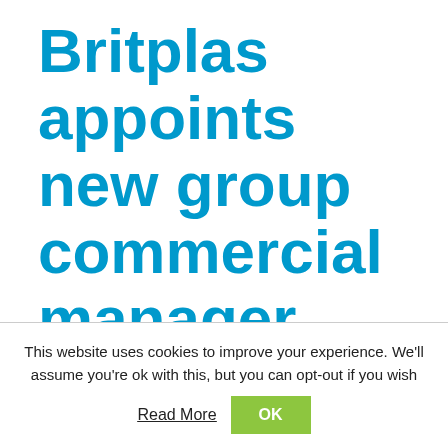Britplas appoints new group commercial manager
This website uses cookies to improve your experience. We'll assume you're ok with this, but you can opt-out if you wish  Read More  OK